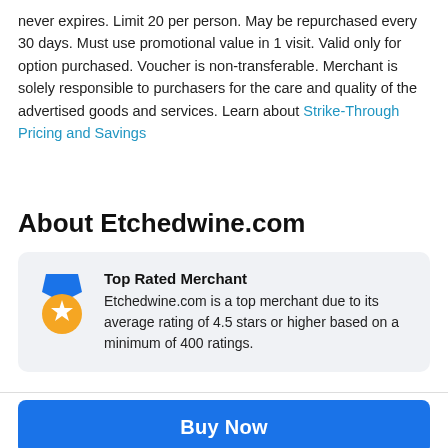never expires. Limit 20 per person. May be repurchased every 30 days. Must use promotional value in 1 visit. Valid only for option purchased. Voucher is non-transferable. Merchant is solely responsible to purchasers for the care and quality of the advertised goods and services. Learn about Strike-Through Pricing and Savings
About Etchedwine.com
Top Rated Merchant
Etchedwine.com is a top merchant due to its average rating of 4.5 stars or higher based on a minimum of 400 ratings.
Buy Now
Sale ends in: 13:08:03